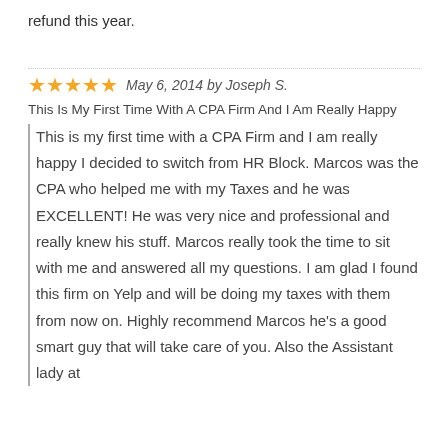refund this year.
May 6, 2014 by Joseph S.
This Is My First Time With A CPA Firm And I Am Really Happy
This is my first time with a CPA Firm and I am really happy I decided to switch from HR Block. Marcos was the CPA who helped me with my Taxes and he was EXCELLENT! He was very nice and professional and really knew his stuff. Marcos really took the time to sit with me and answered all my questions. I am glad I found this firm on Yelp and will be doing my taxes with them from now on. Highly recommend Marcos he's a good smart guy that will take care of you. Also the Assistant lady at